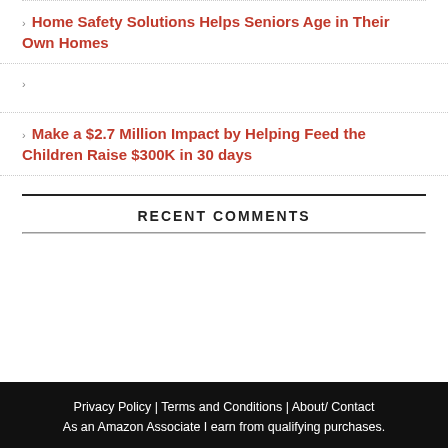Home Safety Solutions Helps Seniors Age in Their Own Homes
Make a $2.7 Million Impact by Helping Feed the Children Raise $300K in 30 days
RECENT COMMENTS
Privacy Policy | Terms and Conditions | About/ Contact
As an Amazon Associate I earn from qualifying purchases.